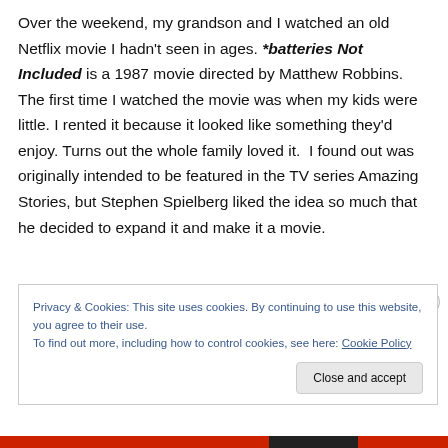Over the weekend, my grandson and I watched an old Netflix movie I hadn't seen in ages. *batteries Not Included is a 1987 movie directed by Matthew Robbins. The first time I watched the movie was when my kids were little. I rented it because it looked like something they'd enjoy. Turns out the whole family loved it.  I found out was originally intended to be featured in the TV series Amazing Stories, but Stephen Spielberg liked the idea so much that he decided to expand it and make it a movie.
Privacy & Cookies: This site uses cookies. By continuing to use this website, you agree to their use.
To find out more, including how to control cookies, see here: Cookie Policy
Close and accept